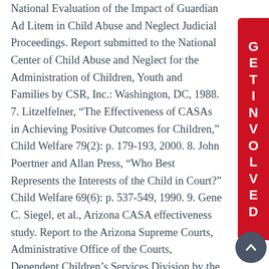National Evaluation of the Impact of Guardian Ad Litem in Child Abuse and Neglect Judicial Proceedings. Report submitted to the National Center of Child Abuse and Neglect for the Administration of Children, Youth and Families by CSR, Inc.: Washington, DC, 1988. 7. Litzelfelner, “The Effectiveness of CASAs in Achieving Positive Outcomes for Children,” Child Welfare 79(2): p. 179-193, 2000. 8. John Poertner and Allan Press, “Who Best Represents the Interests of the Child in Court?” Child Welfare 69(6): p. 537-549, 1990. 9. Gene C. Siegel, et al., Arizona CASA effectiveness study. Report to the Arizona Supreme Courts, Administrative Office of the Courts, Dependent Children’s Services Division by the National Center for Juvenile Justice, 2001. 10. Susan M. Profilet,